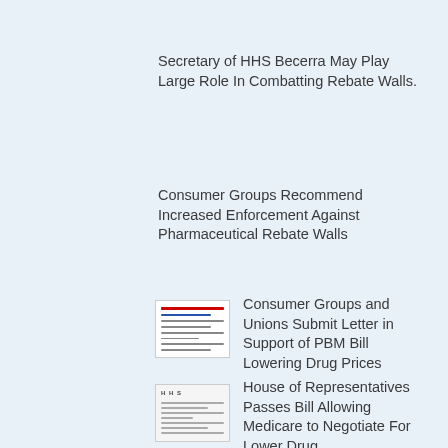Secretary of HHS Becerra May Play Large Role In Combatting Rebate Walls.
Consumer Groups Recommend Increased Enforcement Against Pharmaceutical Rebate Walls
[Figure (illustration): Thumbnail image of a document with red and blue header lines]
Consumer Groups and Unions Submit Letter in Support of PBM Bill Lowering Drug Prices
[Figure (illustration): Thumbnail image of a government document with HHS logo and gray text lines]
House of Representatives Passes Bill Allowing Medicare to Negotiate For Lower Drug...